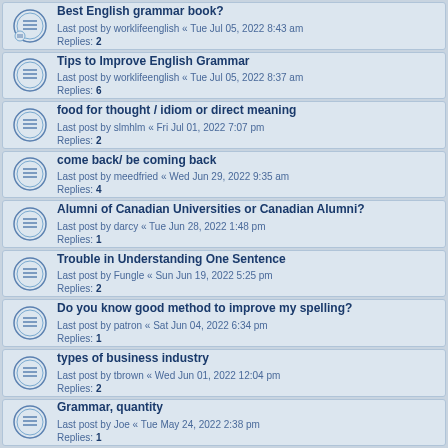Best English grammar book?
Last post by worklifeenglish « Tue Jul 05, 2022 8:43 am
Replies: 2
Tips to Improve English Grammar
Last post by worklifeenglish « Tue Jul 05, 2022 8:37 am
Replies: 6
food for thought / idiom or direct meaning
Last post by slmhlm « Fri Jul 01, 2022 7:07 pm
Replies: 2
come back/ be coming back
Last post by meedfried « Wed Jun 29, 2022 9:35 am
Replies: 4
Alumni of Canadian Universities or Canadian Alumni?
Last post by darcy « Tue Jun 28, 2022 1:48 pm
Replies: 1
Trouble in Understanding One Sentence
Last post by Fungle « Sun Jun 19, 2022 5:25 pm
Replies: 2
Do you know good method to improve my spelling?
Last post by patron « Sat Jun 04, 2022 6:34 pm
Replies: 1
types of business industry
Last post by tbrown « Wed Jun 01, 2022 12:04 pm
Replies: 2
Grammar, quantity
Last post by Joe « Tue May 24, 2022 2:38 pm
Replies: 1